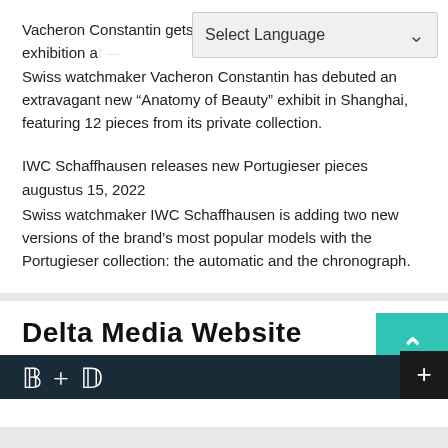Vacheron Constantin gets anat… Shanghai timepiece exhibition a…
Swiss watchmaker Vacheron Constantin has debuted an extravagant new “Anatomy of Beauty” exhibit in Shanghai, featuring 12 pieces from its private collection.
IWC Schaffhausen releases new Portugieser pieces augustus 15, 2022
Swiss watchmaker IWC Schaffhausen is adding two new versions of the brand’s most popular models with the Portugieser collection: the automatic and the chronograph.
Delta Media Website
[Figure (screenshot): Dark banner with decorative serif letter forms in white on dark blue-grey background, with a plus button on the right]